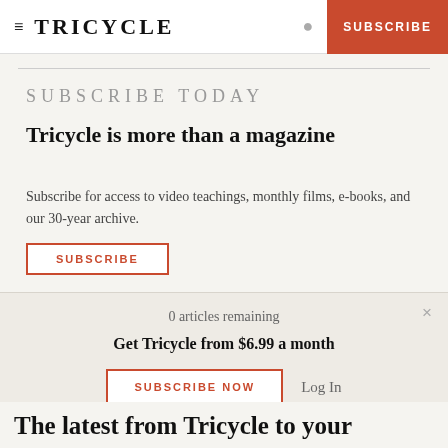≡ TRICYCLE  🔍  SUBSCRIBE
SUBSCRIBE TODAY
Tricycle is more than a magazine
Subscribe for access to video teachings, monthly films, e-books, and our 30-year archive.
SUBSCRIBE
0 articles remaining
Get Tricycle from $6.99 a month
SUBSCRIBE NOW  Log In
The latest from Tricycle to your